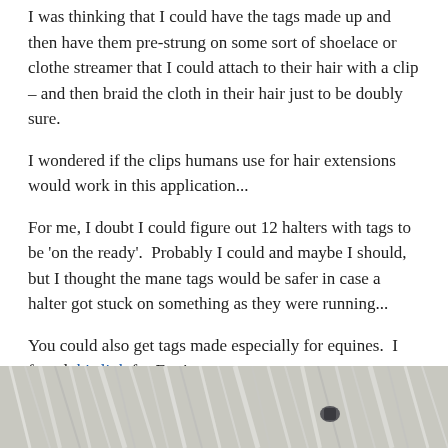I was thinking that I could have the tags made up and then have them pre-strung on some sort of shoelace or clothe streamer that I could attach to their hair with a clip – and then braid the cloth in their hair just to be doubly sure.
I wondered if the clips humans use for hair extensions would work in this application...
For me, I doubt I could figure out 12 halters with tags to be 'on the ready'.  Probably I could and maybe I should, but I thought the mane tags would be safer in case a halter got stuck on something as they were running...
You could also get tags made especially for equines.  I found this link for Equitags.
Some sites suggested luggage tags.
[Figure (photo): A close-up photo of what appears to be a horse's mane or fur, showing gray/white strands of hair with a small object (possibly a tag) visible.]